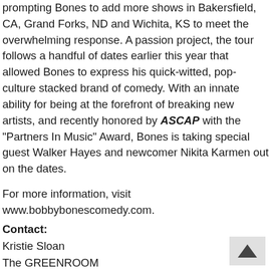prompting Bones to add more shows in Bakersfield, CA, Grand Forks, ND and Wichita, KS to meet the overwhelming response. A passion project, the tour follows a handful of dates earlier this year that allowed Bones to express his quick-witted, pop-culture stacked brand of comedy. With an innate ability for being at the forefront of breaking new artists, and recently honored by ASCAP with the "Partners In Music" Award, Bones is taking special guest Walker Hayes and newcomer Nikita Karmen out on the dates.
For more information, visit www.bobbybonescomedy.com.
Contact:
Kristie Sloan
The GREENROOM
615-242-7444